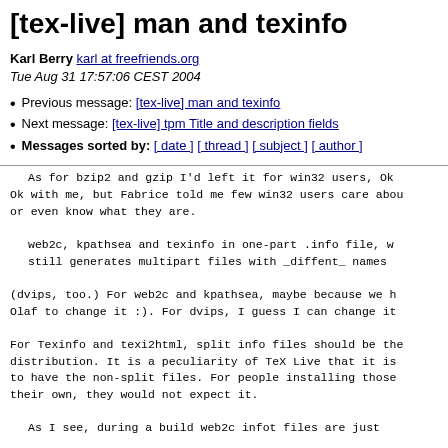[tex-live] man and texinfo
Karl Berry karl at freefriends.org
Tue Aug 31 17:57:06 CEST 2004
Previous message: [tex-live] man and texinfo
Next message: [tex-live] tpm Title and description fields
Messages sorted by: [ date ] [ thread ] [ subject ] [ author ]
As for bzip2 and gzip I'd left it for win32 users, Ok with me, but Fabrice told me few win32 users care about or even know what they are.

    web2c, kpathsea and texinfo in one-part .info file, w still generates multipart files with _diffent_ names

(dvips, too.)  For web2c and kpathsea, maybe because we h Olaf to change it :).  For dvips, I guess I can change it

For Texinfo and texi2html, split info files should be the distribution.  It is a peculiarity of TeX Live that it is to have the non-split files.  For people installing those their own, they would not expect it.

    As I see, during a build web2c infot files are just